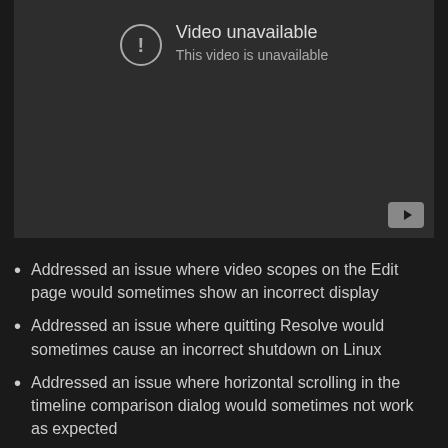[Figure (screenshot): YouTube video player showing 'Video unavailable' error message with exclamation mark icon and YouTube logo in bottom right corner. Dark gray background.]
Addressed an issue where video scopes on the Edit page would sometimes show an incorrect display
Addressed an issue where quitting Resolve would sometimes cause an incorrect shutdown on Linux
Addressed an issue where horizontal scrolling in the timeline comparison dialog would sometimes not work as expected
Addressed an issue in Project Server where clicking Enable